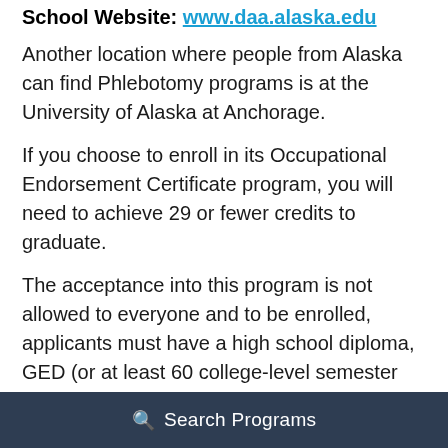School Website: www.daa.alaska.edu
Another location where people from Alaska can find Phlebotomy programs is at the University of Alaska at Anchorage.
If you choose to enroll in its Occupational Endorsement Certificate program, you will need to achieve 29 or fewer credits to graduate.
The acceptance into this program is not allowed to everyone and to be enrolled, applicants must have a high school diploma, GED (or at least 60 college-level semester credits), and 18 years of age.
Search Programs